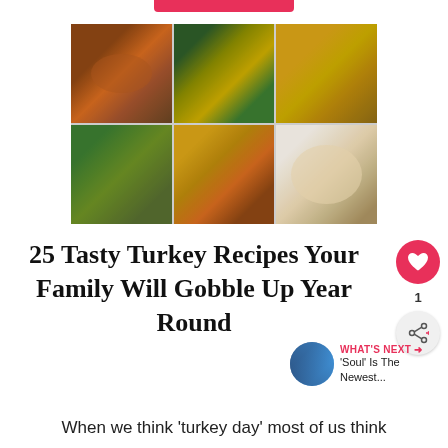[Figure (photo): A collage of 6 turkey recipe food photos arranged in a 3x2 grid: top row shows turkey burgers with sauce, a baked turkey casserole dish with green toppings, and turkey wraps/rolls; bottom row shows turkey lettuce wraps with grain filling, more of the baked turkey casserole, and a creamy turkey salad bowl]
25 Tasty Turkey Recipes Your Family Will Gobble Up Year Round
When we think 'turkey day' most of us think